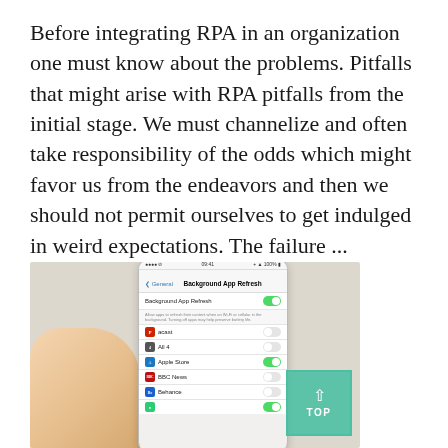Before integrating RPA in an organization one must know about the problems. Pitfalls that might arise with RPA pitfalls from the initial stage. We must channelize and often take responsibility of the odds which might favor us from the endeavors and then we should not permit ourselves to get indulged in weird expectations. The failure ...
[Figure (photo): A hand holding an iPhone displaying the Background App Refresh settings screen in iOS, showing toggle switches for various apps including acast, All 4, Apple Store, BBC News, and Behance. A teal/green 'TOP' button with an upward arrow is visible in the lower right corner.]